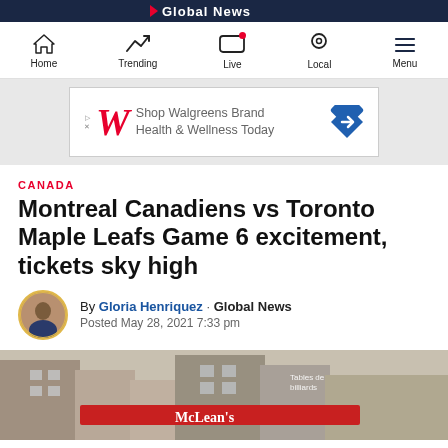Global News
[Figure (screenshot): Navigation bar with Home, Trending, Live (with red notification dot), Local, and Menu icons]
[Figure (screenshot): Advertisement banner: Shop Walgreens Brand Health & Wellness Today with Walgreens logo and blue diamond arrow]
CANADA
Montreal Canadiens vs Toronto Maple Leafs Game 6 excitement, tickets sky high
By Gloria Henriquez · Global News
Posted May 28, 2021 7:33 pm
[Figure (photo): Street scene photo showing McLean's billiards establishment with red awning and stone building facade]